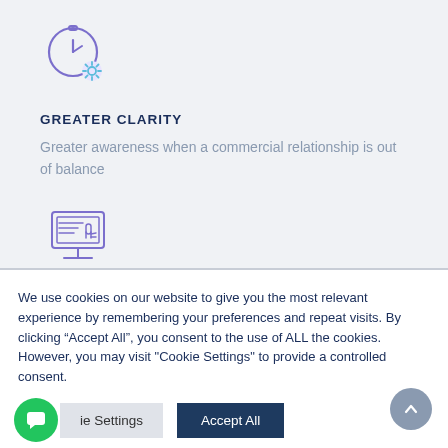[Figure (illustration): Purple outline icon of a stopwatch with a gear/cog at the bottom right]
GREATER CLARITY
Greater awareness when a commercial relationship is out of balance
[Figure (illustration): Purple outline icon of a computer monitor with a hand/cursor clicking]
We use cookies on our website to give you the most relevant experience by remembering your preferences and repeat visits. By clicking “Accept All”, you consent to the use of ALL the cookies. However, you may visit "Cookie Settings" to provide a controlled consent.